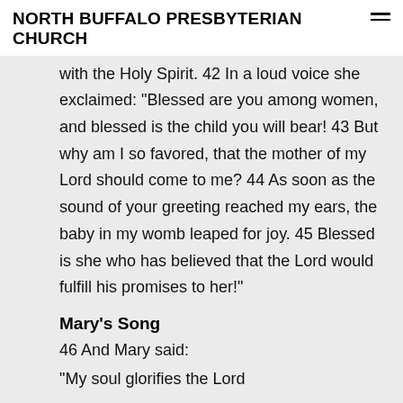NORTH BUFFALO PRESBYTERIAN CHURCH
with the Holy Spirit. 42 In a loud voice she exclaimed: “Blessed are you among women, and blessed is the child you will bear! 43 But why am I so favored, that the mother of my Lord should come to me? 44 As soon as the sound of your greeting reached my ears, the baby in my womb leaped for joy. 45 Blessed is she who has believed that the Lord would fulfill his promises to her!”
Mary’s Song
46 And Mary said:
“My soul glorifies the Lord